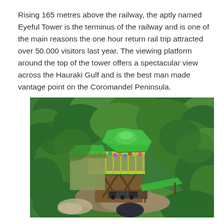Rising 165 metres above the railway, the aptly named Eyeful Tower is the terminus of the railway and is one of the main reasons the one hour return rail trip attracted over 50.000 visitors last year. The viewing platform around the top of the tower offers a spectacular view across the Hauraki Gulf and is the best man made vantage point on the Coromandel Peninsula.
[Figure (photo): Aerial photograph of the Eyeful Tower, a multi-level wooden viewing platform with a green hexagonal roof, surrounded by dense native bush on the Coromandel Peninsula. Visitors are visible on the open top deck. Below the tower, a railway terminus area with green shade shelters and a small train can be seen. The surrounding landscape is covered in lush green forest.]